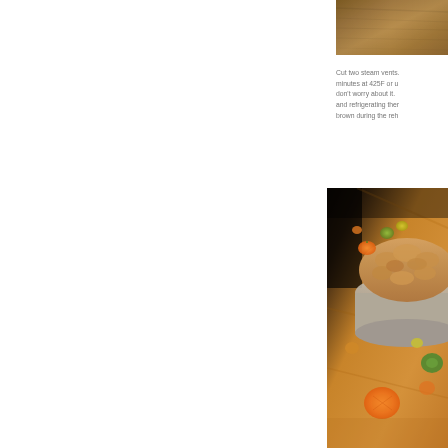[Figure (photo): Close-up of a wooden cutting board or wooden surface, warm brown tones, top portion of page at right side]
Cut two steam vents. minutes at 425F or u don't worry about it. and refrigerating ther brown during the reh
[Figure (photo): Close-up photo of a baked pot pie or pastry in a dish, with colorful vegetables (carrots, peas) scattered on a wooden surface around it]